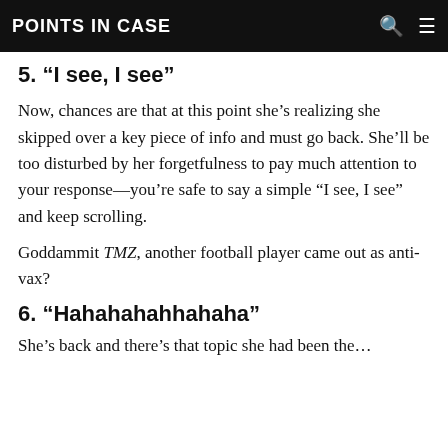POINTS IN CASE
5. “I see, I see”
Now, chances are that at this point she’s realizing she skipped over a key piece of info and must go back. She’ll be too disturbed by her forgetfulness to pay much attention to your response—you’re safe to say a simple “I see, I see” and keep scrolling.
Goddammit TMZ, another football player came out as anti-vax?
6. “Hahahahahhahaha”
She’s back and there’s that topic she had been the...